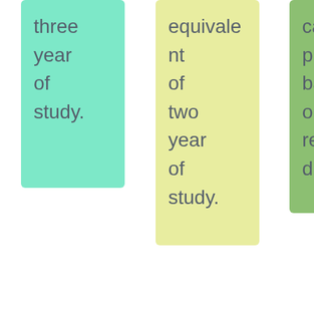three year of study.
equivalent of two year of study.
camp program based on requested.